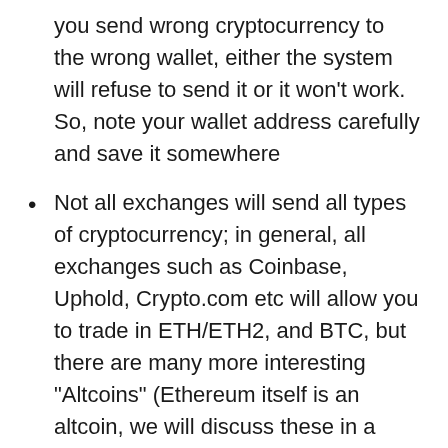you send wrong cryptocurrency to the wrong wallet, either the system will refuse to send it or it won't work. So, note your wallet address carefully and save it somewhere
Not all exchanges will send all types of cryptocurrency; in general, all exchanges such as Coinbase, Uphold, Crypto.com etc will allow you to trade in ETH/ETH2, and BTC, but there are many more interesting "Altcoins" (Ethereum itself is an altcoin, we will discuss these in a later episode); for example, this is my